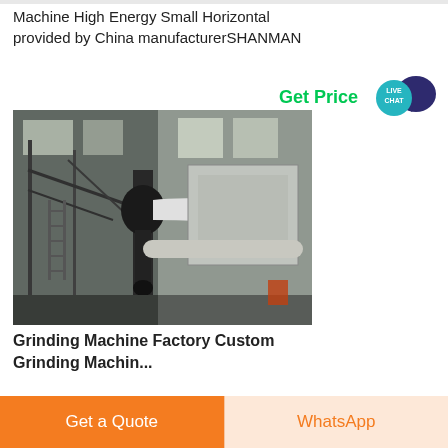Machine High Energy Small Horizontal provided by China manufacturerSHANMAN
Get Price   LIVE CHAT
[Figure (photo): Industrial grinding machine installation inside a large factory building with metal framework, ductwork, and machinery components visible]
Grinding Machine Factory Custom Grinding Machine
Get a Quote
WhatsApp